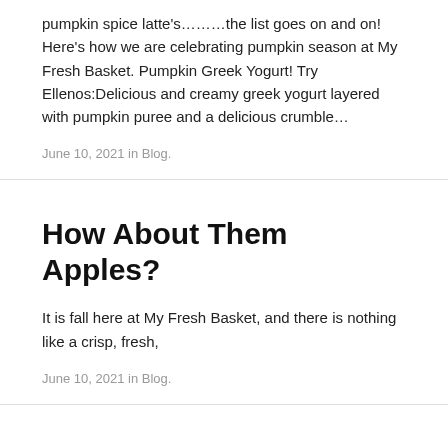pumpkin spice latte's………the list goes on and on! Here's how we are celebrating pumpkin season at My Fresh Basket. Pumpkin Greek Yogurt! Try Ellenos:Delicious and creamy greek yogurt layered with pumpkin puree and a delicious crumble…
June 10, 2021 in Blog.
How About Them Apples?
It is fall here at My Fresh Basket, and there is nothing like a crisp, fresh,
June 10, 2021 in Blog.